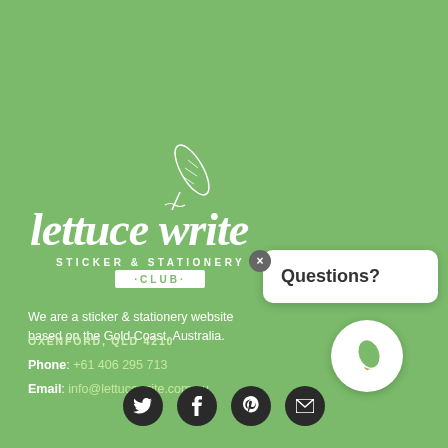[Figure (logo): Lettuce Write Sticker & Stationery Club logo in white on green background, featuring a feather/quill illustration and hand-lettered text]
We are a sticker & stationery website based on the Gold Coast, Australia.
OXENFORD, QLD 4210
Phone: +61 406 295 713
Email: info@lettucewrite.com.au
[Figure (illustration): Row of four social media icons (Twitter, Facebook, Pinterest, Email) as white icons in dark circular buttons]
[Figure (other): Questions? popup box with close button and chat circle with leaf icon]